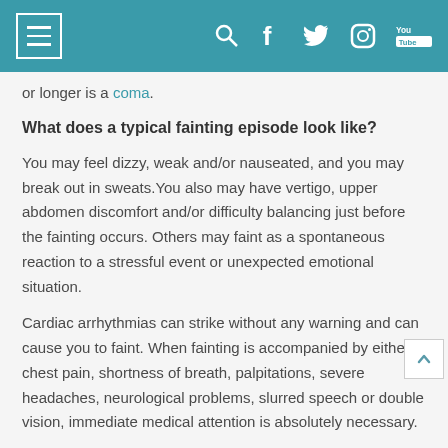Navigation header with menu, search, Facebook, Twitter, Instagram, YouTube icons
or longer is a coma.
What does a typical fainting episode look like?
You may feel dizzy, weak and/or nauseated, and you may break out in sweats. You also may have vertigo, upper abdomen discomfort and/or difficulty balancing just before the fainting occurs. Others may faint as a spontaneous reaction to a stressful event or unexpected emotional situation.
Cardiac arrhythmias can strike without any warning and can cause you to faint. When fainting is accompanied by either chest pain, shortness of breath, palpitations, severe headaches, neurological problems, slurred speech or double vision, immediate medical attention is absolutely necessary.